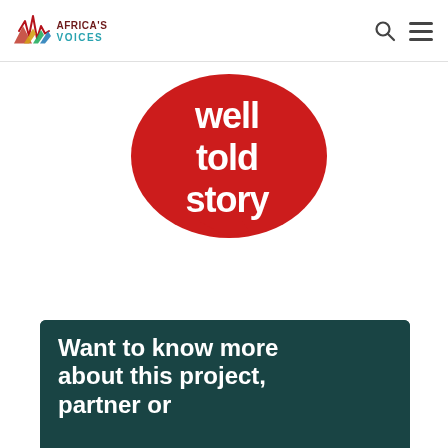Africa's Voices
[Figure (logo): Well Told Story logo — red speech bubble with white bold text reading 'well told story']
[Figure (photo): Dark teal/green background banner showing partial image of a person with headphones, with large white bold text reading 'Want to know more about this project, partner or']